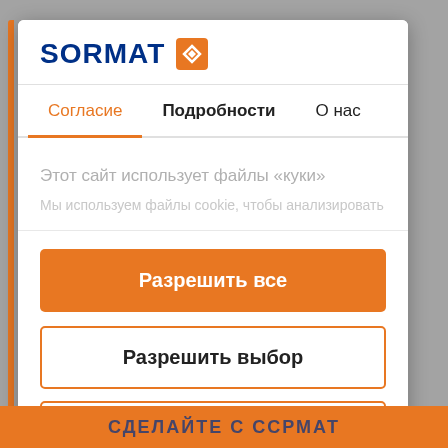[Figure (logo): SORMAT logo with orange icon]
Согласие    Подробности    О нас
Этот сайт использует файлы «куки»
Мы используем файлы cookie, чтобы анализировать
Разрешить все
Разрешить выбор
Отказаться
Powered by Cookiebot by Usercentrics